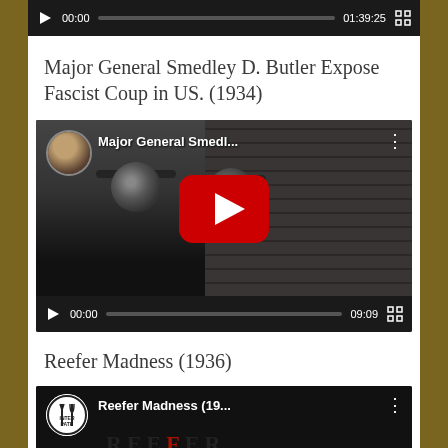[Figure (screenshot): Bottom of a video player showing controls: play button, 00:00 timestamp, progress bar, 01:39:25 duration, fullscreen button]
Major General Smedley D. Butler Expose Fascist Coup in US. (1934)
[Figure (screenshot): YouTube embedded video player for 'Major General Smedl...' showing black and white soldiers, YouTube play button, channel avatar, 00:00 start time, 09:09 duration]
Reefer Madness (1936)
[Figure (screenshot): YouTube embedded video player for 'Reefer Madness (19...' with Interpath channel avatar, partial thumbnail showing REEFER text with red letter]